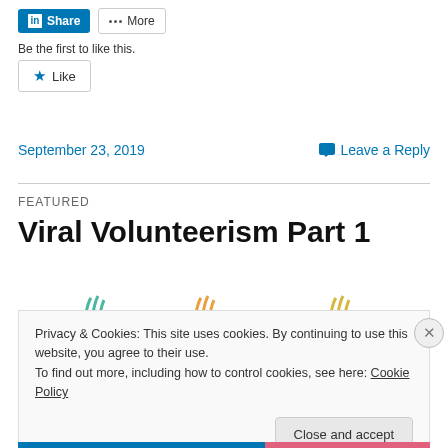[Figure (screenshot): LinkedIn Share and More social sharing buttons at top of page]
[Figure (screenshot): Like button with star icon]
Be the first to like this.
September 23, 2019
Leave a Reply
FEATURED
Viral Volunteerism Part 1
[Figure (illustration): Partial view of colorful illustration with plant/sprout motifs in teal, orange, and yellow]
Privacy & Cookies: This site uses cookies. By continuing to use this website, you agree to their use.
To find out more, including how to control cookies, see here: Cookie Policy
Close and accept